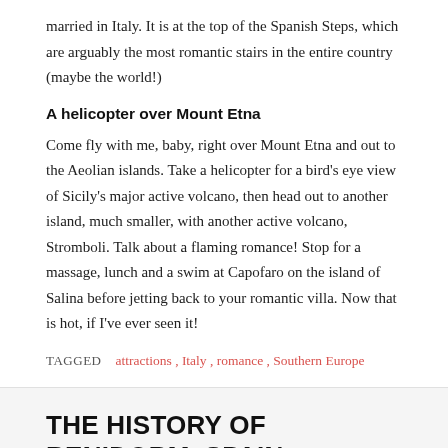married in Italy. It is at the top of the Spanish Steps, which are arguably the most romantic stairs in the entire country (maybe the world!)
A helicopter over Mount Etna
Come fly with me, baby, right over Mount Etna and out to the Aeolian islands. Take a helicopter for a bird's eye view of Sicily's major active volcano, then head out to another island, much smaller, with another active volcano, Stromboli. Talk about a flaming romance! Stop for a massage, lunch and a swim at Capofaro on the island of Salina before jetting back to your romantic villa. Now that is hot, if I've ever seen it!
TAGGED   attractions , Italy , romance , Southern Europe
THE HISTORY OF BENIDORM, SPAIN
BY LARRY SOLOMON   JANUARY 21, 2015